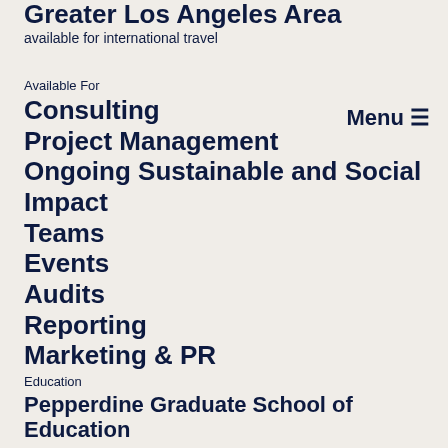Greater Los Angeles Area
available for international travel
Available For
Consulting
Project Management
Ongoing Sustainable and Social Impact
Teams
Events
Audits
Reporting
Marketing & PR
Education
Pepperdine Graduate School of Education